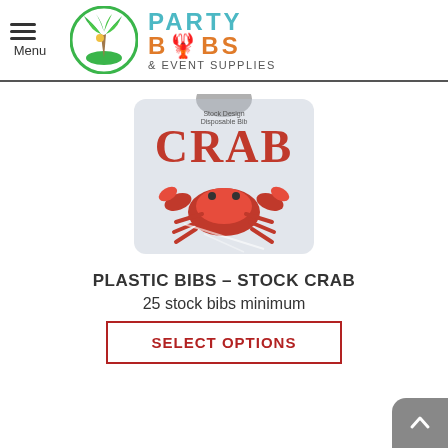Menu | PARTY BIBS & EVENT SUPPLIES
[Figure (photo): A white plastic bib with 'CRAB' printed in large red letters and an illustration of a red crab below the text, shrink-wrapped in plastic packaging.]
PLASTIC BIBS – STOCK CRAB
25 stock bibs minimum
SELECT OPTIONS